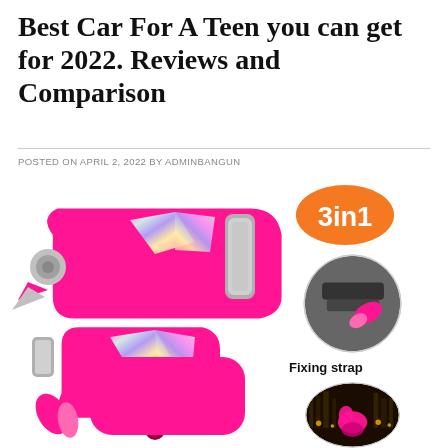Best Car For A Teen you can get for 2022. Reviews and Comparison
POSTED ON APRIL 2, 2022 BY ADMINBANGUN
[Figure (photo): Pink 3-in-1 car safety hammer/escape tool with holographic diamond inserts and silver accents, with smaller inset images showing a '3in1' orange badge, a 'Fixing strap' circular image, and a nighttime city scene circular image with the pink tool in use]